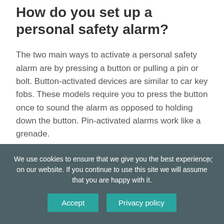How do you set up a personal safety alarm?
The two main ways to activate a personal safety alarm are by pressing a button or pulling a pin or bolt. Button-activated devices are similar to car key fobs. These models require you to press the button once to sound the alarm as opposed to holding down the button. Pin-activated alarms work like a grenade.
How does a PIN activated personal safety alarm work?
We use cookies to ensure that we give you the best experience on our website. If you continue to use this site we will assume that you are happy with it.